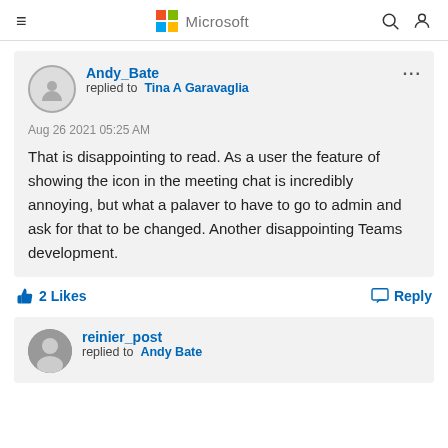Microsoft
Andy_Bate replied to Tina A Garavaglia
Aug 26 2021 05:25 AM
That is disappointing to read. As a user the feature of showing the icon in the meeting chat is incredibly annoying, but what a palaver to have to go to admin and ask for that to be changed. Another disappointing Teams development.
2 Likes
Reply
reinier_post replied to Andy Bate